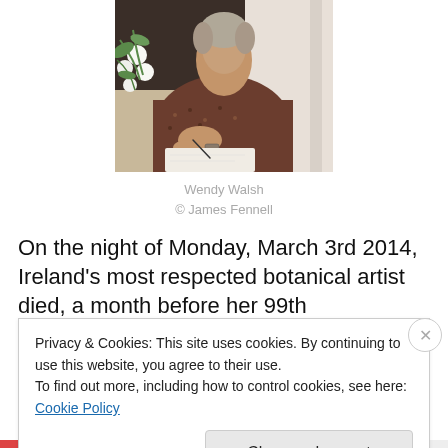[Figure (photo): Elderly woman (Wendy Walsh) drawing or painting at a desk, with white flowering plant nearby, wearing a patterned shirt and watch]
Wendy Walsh
© James Fennell
On the night of Monday, March 3rd 2014, Ireland's most respected botanical artist died, a month before her 99th
Privacy & Cookies: This site uses cookies. By continuing to use this website, you agree to their use.
To find out more, including how to control cookies, see here: Cookie Policy
Close and accept